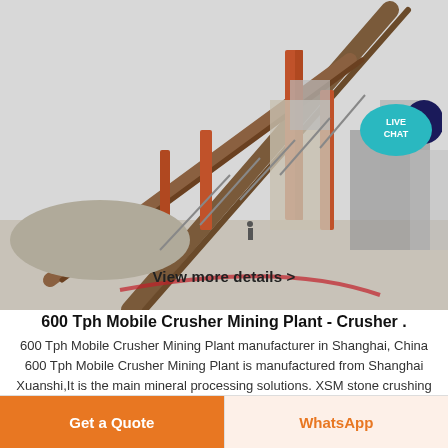[Figure (photo): Industrial mobile crusher mining plant with conveyor belts and orange/red metal frames against a light sky background]
View more details >
600 Tph Mobile Crusher Mining Plant - Crusher .
600 Tph Mobile Crusher Mining Plant manufacturer in Shanghai, China 600 Tph Mobile Crusher Mining Plant is manufactured from Shanghai Xuanshi,It is the main mineral processing solutions. XSM stone crushing machine project ...
Get Price
Get a Quote
WhatsApp